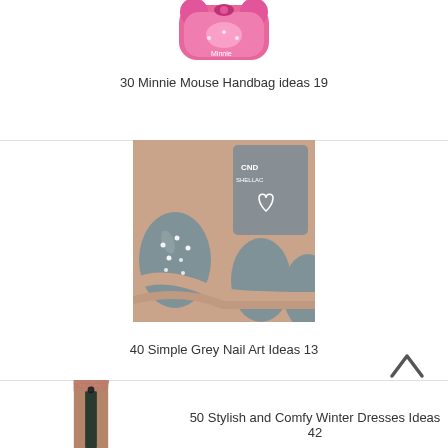[Figure (photo): Pink Minnie Mouse handbag thumbnail (partially visible at top of page)]
30 Minnie Mouse Handbag ideas 19
[Figure (photo): Close-up photo of grey gel nails with small white dot embellishments, with CND Shellac nail polish bottle in background]
40 Simple Grey Nail Art Ideas 13
[Figure (photo): Street style photo of person wearing dark green/black turtleneck sweater and long dark skirt with beret hat, standing in front of brick wall]
50 Stylish and Comfy Winter Dresses Ideas 42